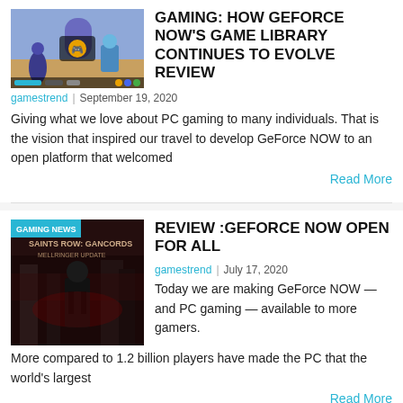[Figure (screenshot): Thumbnail image of a colorful video game scene with a gaming overlay UI]
GAMING: HOW GEFORCE NOW'S GAME LIBRARY CONTINUES TO EVOLVE REVIEW
gamestrend  |  September 19, 2020
Giving what we love about PC gaming to many individuals. That is the vision that inspired our travel to develop GeForce NOW to an open platform that welcomed
Read More
[Figure (screenshot): Thumbnail image of Saints Row game with GAMING NEWS badge overlay]
REVIEW :GEFORCE NOW OPEN FOR ALL
gamestrend  |  July 17, 2020
Today we are making GeForce NOW — and PC gaming — available to more gamers.More compared to 1.2 billion players have made the PC that the world's largest
Read More